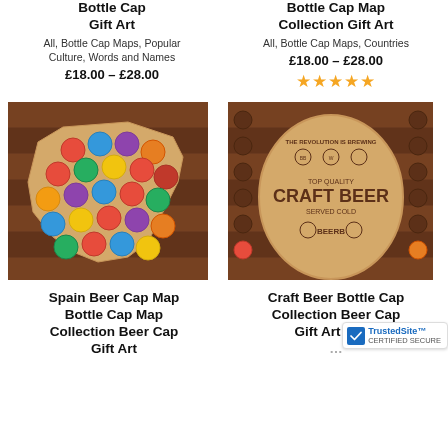Bottle Cap Map Collection Gift Art
All, Bottle Cap Maps, Popular Culture, Words and Names
£18.00 – £28.00
Bottle Cap Map Collection Gift Art
All, Bottle Cap Maps, Countries
£18.00 – £28.00
[Figure (photo): Spain Beer Cap Map - wooden map-shaped bottle cap collector board with colorful bottle caps in circular holes, hung on wooden wall]
[Figure (photo): Craft Beer Bottle Cap Collection board - round wooden board with CRAFT BEER engraving and circular holes for bottle caps]
Spain Beer Cap Map Bottle Cap Map Collection Beer Cap Gift Art
Craft Beer Bottle Cap Collection Beer Cap Gift Art Brewery Gift for H...